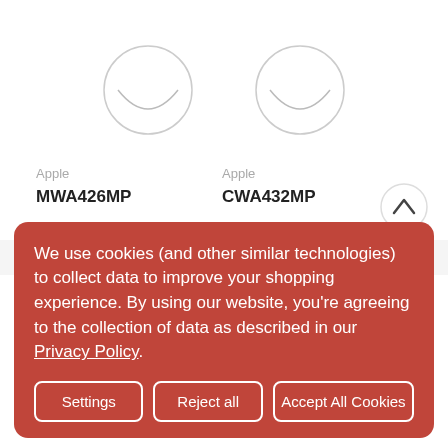[Figure (screenshot): Two product cards showing Apple products with circular image placeholders and product codes MWA426MP and CWA432MP]
Apple
MWA426MP
Apple
CWA432MP
We use cookies (and other similar technologies) to collect data to improve your shopping experience. By using our website, you're agreeing to the collection of data as described in our Privacy Policy.